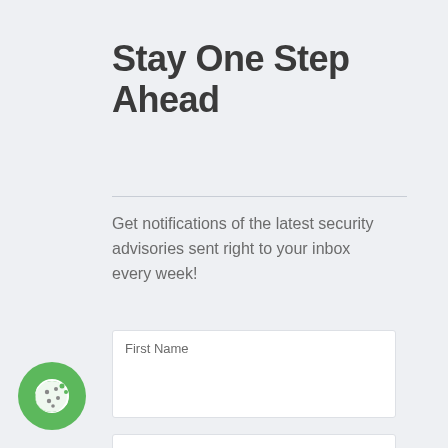Stay One Step Ahead
Get notifications of the latest security advisories sent right to your inbox every week!
First Name
Last Name
Email Address
Relationship Mit...